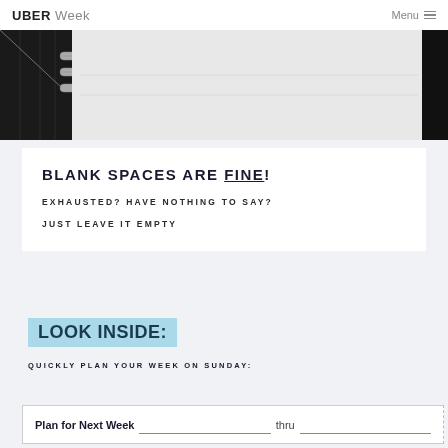UBER Week  Menu
[Figure (photo): Close-up photo of a spiral-bound notebook, showing the metal coil binding on the left side and a gray/white background. A dark black section appears on the right edge.]
BLANK SPACES ARE FINE!
EXHAUSTED? HAVE NOTHING TO SAY?
JUST LEAVE IT EMPTY
LOOK INSIDE:
QUICKLY PLAN YOUR WEEK ON SUNDAY:
Plan for Next Week __________ thru __________